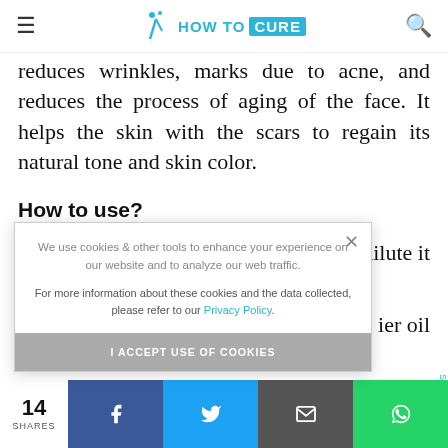HOW TO CURE
reduces wrinkles, marks due to acne, and reduces the process of aging of the face. It helps the skin with the scars to regain its natural tone and skin color.
How to use?
you dilute it
ier oil
We use cookies & other tools to enhance your experience on our website and to analyze our web traffic.

For more information about these cookies and the data collected, please refer to our Privacy Policy.
I ACCEPT USE OF COOKIES
Scroll To
14 SHARES